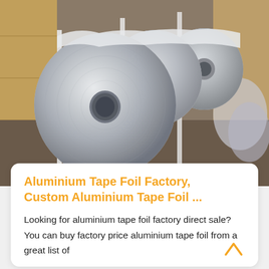[Figure (photo): Large rolls of aluminium foil tape on wooden pallets in a warehouse/factory setting. Several large silver metallic coils are stacked, with the foreground coil showing a circular cross-section with a central hole.]
Aluminium Tape Foil Factory, Custom Aluminium Tape Foil ...
Looking for aluminium tape foil factory direct sale? You can buy factory price aluminium tape foil from a great list of